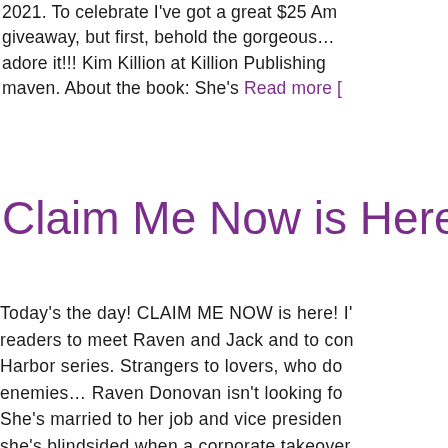2021. To celebrate I've got a great $25 Am giveaway, but first, behold the gorgeous... adore it!!! Kim Killion at Killion Publishing maven. About the book: She's Read more [
Claim Me Now is Here!
Today's the day! CLAIM ME NOW is here! I' readers to meet Raven and Jack and to con Harbor series. Strangers to lovers, who do enemies... Raven Donovan isn't looking fo She's married to her job and vice presiden she's blindsided when a corporate takeover unceremoniously unemployed. Reeling, she